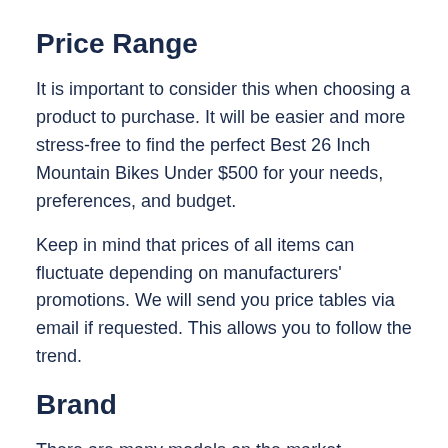Price Range
It is important to consider this when choosing a product to purchase. It will be easier and more stress-free to find the perfect Best 26 Inch Mountain Bikes Under $500 for your needs, preferences, and budget.
Keep in mind that prices of all items can fluctuate depending on manufacturers' promotions. We will send you price tables via email if requested. This allows you to follow the trend.
Brand
There are many models on the market. However, this article has filtered and selected the best devices from the brand: Alpcour, OUTROAD OUTDOOR CAMPING GARDEN PATIO, SOCOOL, Huffy,